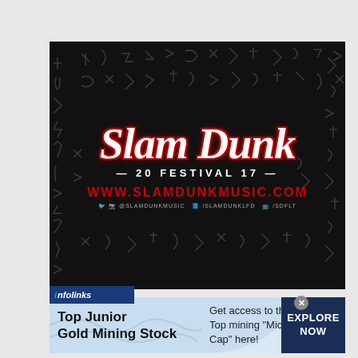[Figure (illustration): Slam Dunk Festival 17 promotional image on black background with abstract line pattern. Shows 'Slam Dunk' in large white italic script with red outline, '20 FESTIVAL 17' below, website www.slamdunkmusic.com in red, and social media handles in small text.]
infolinks
Top Junior Gold Mining Stock
Get access to the next Top mining "Micro Cap" here!
EXPLORE NOW